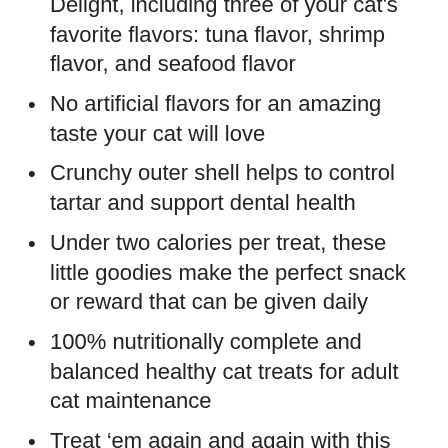Delight, including three of your cat's favorite flavors: tuna flavor, shrimp flavor, and seafood flavor
No artificial flavors for an amazing taste your cat will love
Crunchy outer shell helps to control tartar and support dental health
Under two calories per treat, these little goodies make the perfect snack or reward that can be given daily
100% nutritionally complete and balanced healthy cat treats for adult cat maintenance
Treat 'em again and again with this super value-sized, resealable tub: perfect for keeping cat paws off when